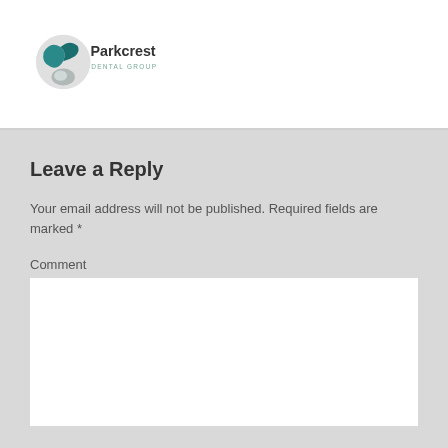[Figure (logo): Parkcrest Dental Group logo with teal wave/tooth graphic and text 'Parkcrest DENTAL GROUP']
Leave a Reply
Your email address will not be published. Required fields are marked *
Comment